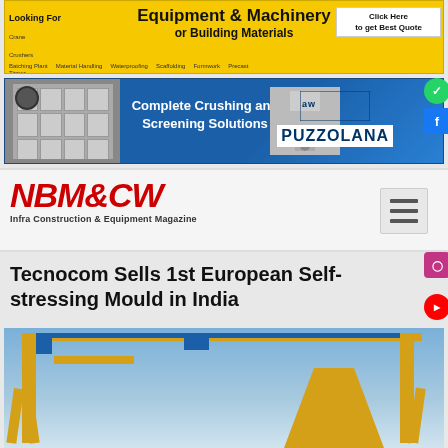[Figure (infographic): Yellow banner advertisement: Looking For Equipment & Machinery or Building Materials - Click Here to get Best Quote. Tags: Earthmovers, Crane, Crushers, Tipper, Batching Plant, Material Handling, Waterproofing, Formwork, Scaffolding, Precast]
[Figure (infographic): Puzzolana banner: Complete Crushing and Screening Solutions, with images of crushing/screening machinery on blue background]
[Figure (logo): NBM&CW - Infra Construction & Equipment Magazine logo in red italic text with hamburger menu icon]
Tecnocom Sells 1st European Self-stressing Mould in India
[Figure (photo): Photo of a large yellow gantry crane with blue accents against a blue sky]